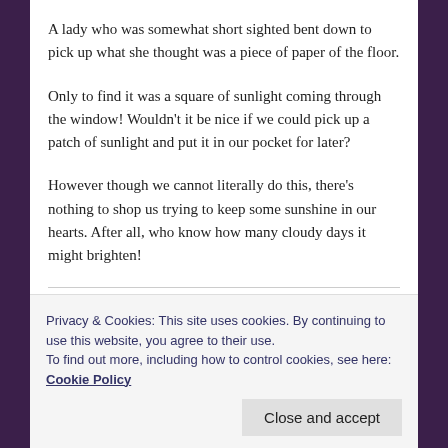A lady who was somewhat short sighted bent down to pick up what she thought was a piece of paper of the floor.
Only to find it was a square of sunlight coming through the window! Wouldn't it be nice if we could pick up a patch of sunlight and put it in our pocket for later?
However though we cannot literally do this, there's nothing to shop us trying to keep some sunshine in our hearts. After all, who know how many cloudy days it might brighten!
Privacy & Cookies: This site uses cookies. By continuing to use this website, you agree to their use.
To find out more, including how to control cookies, see here: Cookie Policy